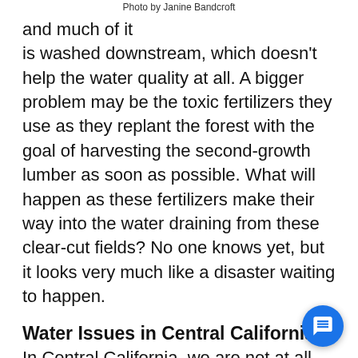Photo by Janine Bandcroft
and much of it is washed downstream, which doesn't help the water quality at all. A bigger problem may be the toxic fertilizers they use as they replant the forest with the goal of harvesting the second-growth lumber as soon as possible. What will happen as these fertilizers make their way into the water draining from these clear-cut fields? No one knows yet, but it looks very much like a disaster waiting to happen.
Water Issues in Central California
In Central California, we are not at all immune from these kinds of problems with our drinking water. When I moved to Fresno in 1970, the water was not even chlorinated. At that time, Fresno was said to have had the cleanest drinking water of any city of its size in the nation. That's because the city got all of its water from deep wells that